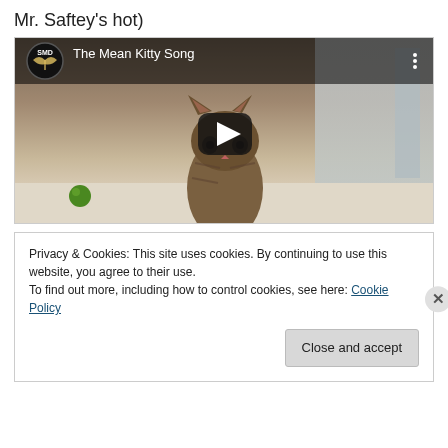Mr. Saftey's hot)
[Figure (screenshot): YouTube video embed thumbnail showing 'The Mean Kitty Song' with a kitten walking toward the camera, a green ball in the background, and a play button overlay. Channel logo (SMD) shown in top-left with video title.]
Privacy & Cookies: This site uses cookies. By continuing to use this website, you agree to their use.
To find out more, including how to control cookies, see here: Cookie Policy
Close and accept